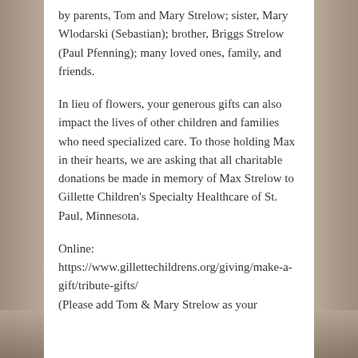by parents, Tom and Mary Strelow; sister, Mary Wlodarski (Sebastian); brother, Briggs Strelow (Paul Pfenning); many loved ones, family, and friends.
In lieu of flowers, your generous gifts can also impact the lives of other children and families who need specialized care. To those holding Max in their hearts, we are asking that all charitable donations be made in memory of Max Strelow to Gillette Children's Specialty Healthcare of St. Paul, Minnesota.
Online:
https://www.gillettechildrens.org/giving/make-a-gift/tribute-gifts/
(Please add Tom & Mary Strelow as your